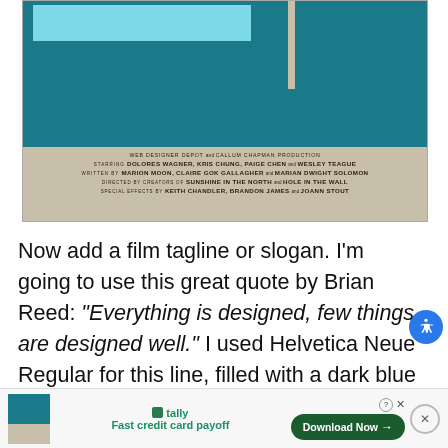[Figure (illustration): Movie poster partial view showing teal/dark blue graphic panels at top, and film credits text on a cream/beige background at bottom. Credits include: WEB DESIGNER DEPOT and CALLUM CHAPMAN PRODUCTION, STARRING DOLORES WAGNER, KRIS CHUNG, PAIGE CHEN and WESLEY TEAGUE, WRITTEN BY MARION MOON, CLAIRE GOK GALLAGHER and MARIAN DWIGHT SOLOMON, DIRECTED BY CREATORS OF SUNSHINE IN THE NORTH and HOLE IN THE WALL, SPECIAL EFFECTS BY KEITH CHANDLER, BRANDON JAMES and JOANN STOUT]
Now add a film tagline or slogan. I'm going to use this great quote by Brian Reed: "Everything is designed, few things are designed well." I used Helvetica Neue Regular for this line, filled with a dark blue a 48 pixels
Fast credit card payoff